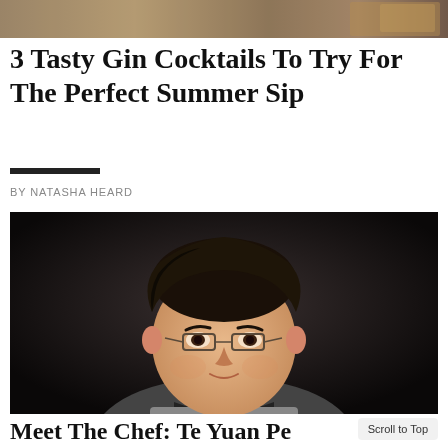[Figure (photo): Partial view of a cocktail or food image at the top of the article page — cropped banner photo]
3 Tasty Gin Cocktails To Try For The Perfect Summer Sip
BY NATASHA HEARD
[Figure (photo): Professional headshot portrait of a man wearing glasses and a chef's uniform (grey collar with dark lapels), against a dark background]
Meet The Chef: Te Yuan Pe